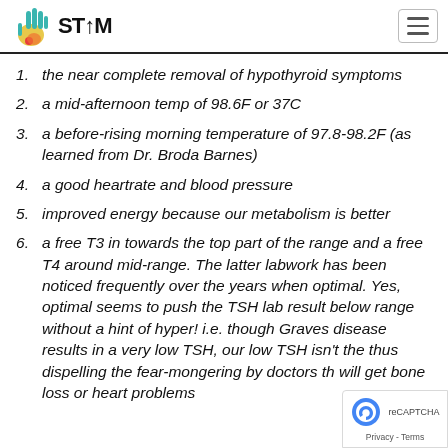STTM logo and navigation
the near complete removal of hypothyroid symptoms
a mid-afternoon temp of 98.6F or 37C
a before-rising morning temperature of 97.8-98.2F (as learned from Dr. Broda Barnes)
a good heartrate and blood pressure
improved energy because our metabolism is better
a free T3 in towards the top part of the range and a free T4 around mid-range. The latter labwork has been noticed frequently over the years when optimal. Yes, optimal seems to push the TSH lab result below range without a hint of hyper! i.e. though Graves disease results in a very low TSH, our low TSH isn't the thus dispelling the fear-mongering by doctors th will get bone loss or heart problems